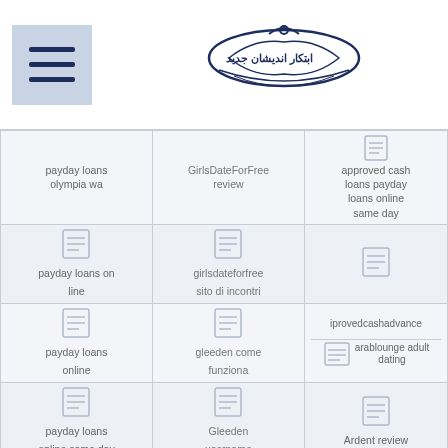[hamburger menu icon] [Arabic logo/text]
| col1 | col2 | col3 |
| --- | --- | --- |
| payday loans olympia wa | GirlsDateForFree review | approved cash loans payday loans online same day |
| [icon] payday loans on line | [icon] girlsdateforfree sito di incontri | [icon] |
| [icon] payday loans online | [icon] gleeden come funziona | iprovedcashadvance
[icon] arablounge adult dating |
| [icon] payday loans online same day | [icon] Gleeden username | [icon] Ardent review |
| [icon] | [icon] | [icon] |